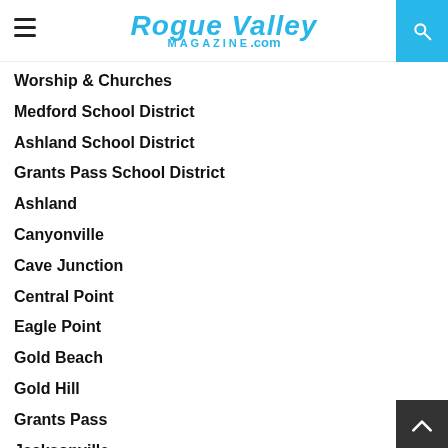Rogue Valley Magazine .com
Worship & Churches
Medford School District
Ashland School District
Grants Pass School District
Ashland
Canyonville
Cave Junction
Central Point
Eagle Point
Gold Beach
Gold Hill
Grants Pass
Jacksonville
Medford